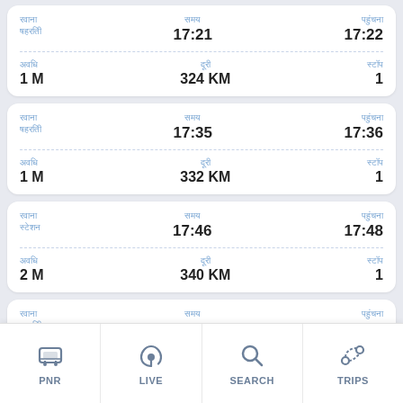Card 1: Departure time 17:21, Arrival 17:22, Duration 1M, Distance 324 KM, Stops 1
Card 2: Departure time 17:35, Arrival 17:36, Duration 1M, Distance 332 KM, Stops 1
Card 3: Departure time 17:46, Arrival 17:48, Duration 2M, Distance 340 KM, Stops 1
Card 4: Departure time 18:15, Arrival 18:16
PNR | LIVE | SEARCH | TRIPS